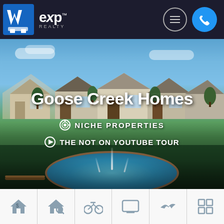[Figure (screenshot): Website header with W/M logo and eXp Realty logo on dark background, with hamburger menu icon (circle) and phone icon (blue circle) on the right]
[Figure (photo): Hero image of Goose Creek homes community with fountain and suburban houses, overlaid with text: 'Goose Creek Homes', 'NICHE PROPERTIES', 'THE NOT ON YOUTUBE TOUR']
Goose Creek Homes
NICHE PROPERTIES
THE NOT ON YOUTUBE TOUR
[Figure (other): Icon navigation bar with six icons: house with dollar sign, house with magnifier, bicycle, monitor/TV, right-arrow bird, and grid/four-square layout icon]
Goose Creek is the area between North Charleston and Summerville, and is located approximately 15 miles from Charleston, South Carolina.
The source of the name has been lost to history. One